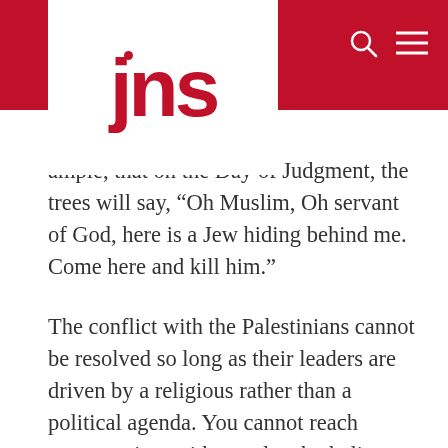[Figure (logo): JNS logo — red text 'jns' with a dot above the 'j' on a white background, set against a red header bar]
ample, that on the Day of Judgment, the trees will say, “Oh Muslim, Oh servant of God, here is a Jew hiding behind me. Come here and kill him.”
The conflict with the Palestinians cannot be resolved so long as their leaders are driven by a religious rather than a political agenda. You cannot reach compromises with people who believe that Allah has given them marching orders to reconstitute the Islamic empire and, ideally, expand it throughout the world. For them, Israel is a cancer in the Islamic body that